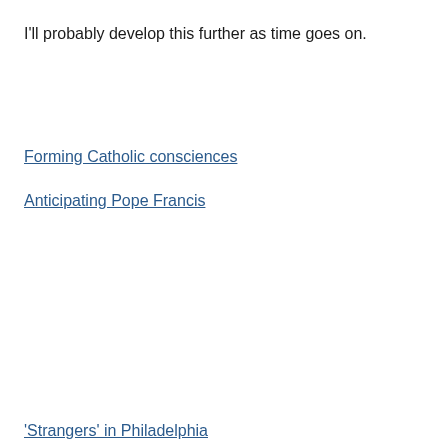I'll probably develop this further as time goes on.
Forming Catholic consciences
Anticipating Pope Francis
'Strangers' in Philadelphia